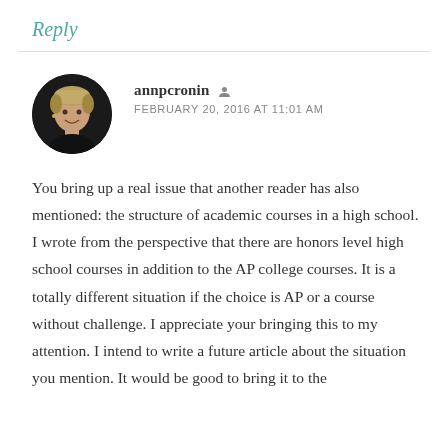Reply
annpcronin
FEBRUARY 20, 2016 AT 11:01 AM
You bring up a real issue that another reader has also mentioned: the structure of academic courses in a high school. I wrote from the perspective that there are honors level high school courses in addition to the AP college courses. It is a totally different situation if the choice is AP or a course without challenge. I appreciate your bringing this to my attention. I intend to write a future article about the situation you mention. It would be good to bring it to the